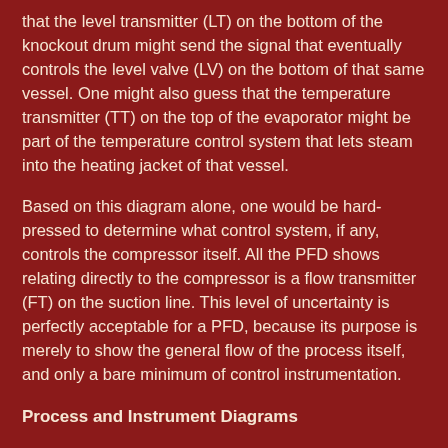that the level transmitter (LT) on the bottom of the knockout drum might send the signal that eventually controls the level valve (LV) on the bottom of that same vessel. One might also guess that the temperature transmitter (TT) on the top of the evaporator might be part of the temperature control system that lets steam into the heating jacket of that vessel.
Based on this diagram alone, one would be hard-pressed to determine what control system, if any, controls the compressor itself. All the PFD shows relating directly to the compressor is a flow transmitter (FT) on the suction line. This level of uncertainty is perfectly acceptable for a PFD, because its purpose is merely to show the general flow of the process itself, and only a bare minimum of control instrumentation.
Process and Instrument Diagrams
The next level of detail is the Process and Instrument Diagram, or P&ID. Here, we see a "zooming in" of scope from the whole evaporator process to the compressor as a unit. The evaporator and knockout vessels almost fade into